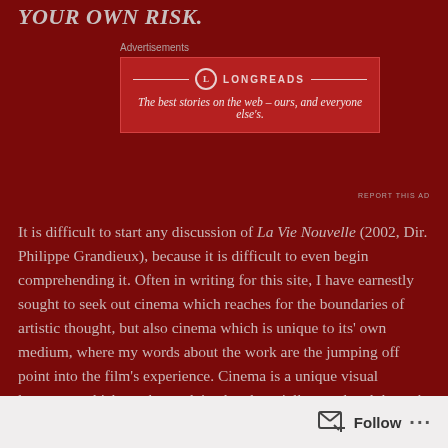YOUR OWN RISK.
[Figure (other): Longreads advertisement banner: logo with circle L, text 'LONGREADS', tagline 'The best stories on the web – ours, and everyone else's.']
REPORT THIS AD
It is difficult to start any discussion of La Vie Nouvelle (2002, Dir. Philippe Grandieux), because it is difficult to even begin comprehending it. Often in writing for this site, I have earnestly sought to seek out cinema which reaches for the boundaries of artistic thought, but also cinema which is unique to its' own medium, where my words about the work are the jumping off point into the film's experience. Cinema is a unique visual language, which can be explained and partially translated through words, but I have found myself comfortable writing about films which I felt were at the limits of language and the powers of written explanations. In short, films which need to be seen to be believed but also seen to be understood.
Follow ...